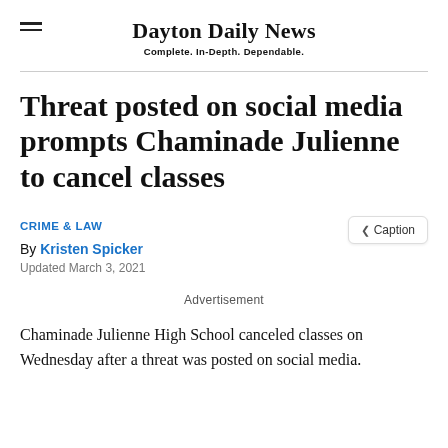Dayton Daily News
Complete. In-Depth. Dependable.
Threat posted on social media prompts Chaminade Julienne to cancel classes
CRIME & LAW
By Kristen Spicker
Updated March 3, 2021
Advertisement
Chaminade Julienne High School canceled classes on Wednesday after a threat was posted on social media.